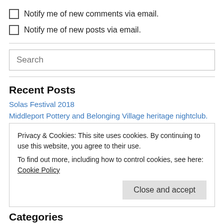Notify me of new comments via email.
Notify me of new posts via email.
Search
Recent Posts
Solas Festival 2018
Middleport Pottery and Belonging Village heritage nightclub.
Privacy & Cookies: This site uses cookies. By continuing to use this website, you agree to their use.
To find out more, including how to control cookies, see here: Cookie Policy
Close and accept
Categories